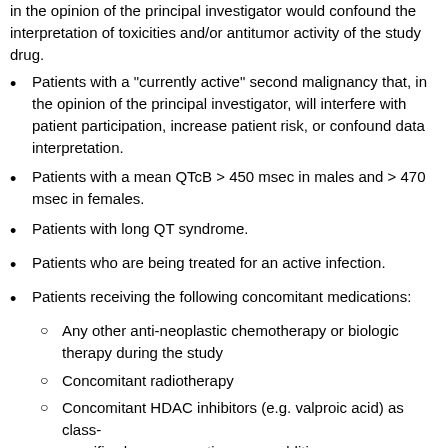Concurrent use of complementary or alternative medicines that, in the opinion of the principal investigator would confound the interpretation of toxicities and/or antitumor activity of the study drug.
Patients with a "currently active" second malignancy that, in the opinion of the principal investigator, will interfere with patient participation, increase patient risk, or confound data interpretation.
Patients with a mean QTcB > 450 msec in males and > 470 msec in females.
Patients with long QT syndrome.
Patients who are being treated for an active infection.
Patients receiving the following concomitant medications:
Any other anti-neoplastic chemotherapy or biologic therapy during the study
Concomitant radiotherapy
Concomitant HDAC inhibitors (e.g. valproic acid) as class-specific chemoprevention or as additives...